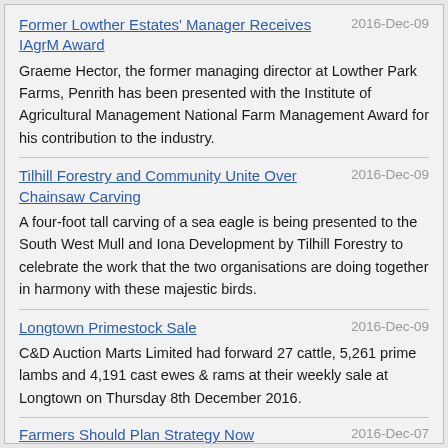Former Lowther Estates' Manager Receives IAgrM Award
2016-Dec-09
Graeme Hector, the former managing director at Lowther Park Farms, Penrith has been presented with the Institute of Agricultural Management National Farm Management Award for his contribution to the industry.
Tilhill Forestry and Community Unite Over Chainsaw Carving
2016-Dec-09
A four-foot tall carving of a sea eagle is being presented to the South West Mull and Iona Development by Tilhill Forestry to celebrate the work that the two organisations are doing together in harmony with these majestic birds.
Longtown Primestock Sale
2016-Dec-09
C&D Auction Marts Limited had forward 27 cattle, 5,261 prime lambs and 4,191 cast ewes & rams at their weekly sale at Longtown on Thursday 8th December 2016.
Farmers Should Plan Strategy Now
2016-Dec-07